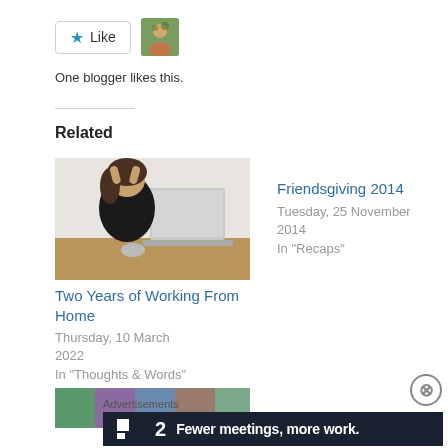[Figure (other): Like button with star icon and user avatar thumbnail]
One blogger likes this.
Related
[Figure (photo): Person with head in hands sitting at a laptop, looking stressed]
Two Years of Working From Home
Thursday, 10 March 2022
In "Thoughts & Words"
Friendsgiving 2014
Tuesday, 25 November 2014
In "Recaps"
[Figure (photo): Partially visible colorful image at the bottom]
Advertisements
[Figure (other): Advertisement banner: Fewer meetings, more work. with Plan logo]